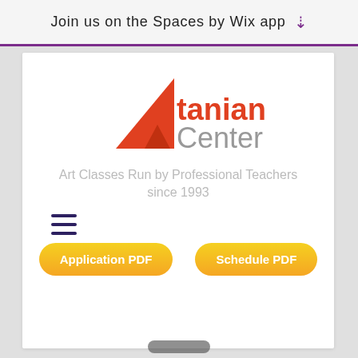Join us on the Spaces by Wix app
[Figure (logo): Artanian Center logo — orange/red triangle shape with stylized 'art' letters, 'tanian' in red and 'Center' in gray]
Art Classes Run by Professional Teachers since 1993
[Figure (other): Hamburger menu icon — three horizontal dark purple lines]
Application PDF
Schedule PDF